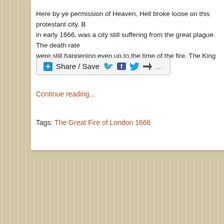Here by ye permission of Heaven, Hell broke loose on this protestant city. B… in early 1666, was a city still suffering from the great plague. The death rate… were still happening even up to the time of the fire. The King and […]
[Figure (other): Share / Save button with social media icons (Facebook, Twitter, share arrow) and ellipsis]
Continue reading...
Tags: The Great Fire of London 1666